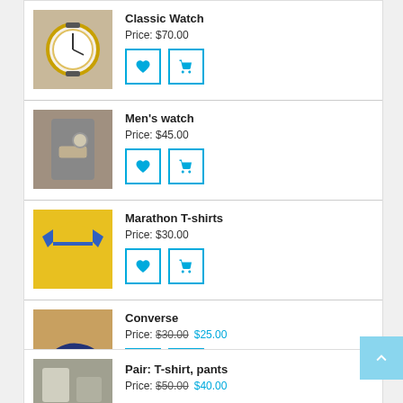Classic Watch — Price: $70.00
Men's watch — Price: $45.00
Marathon T-shirts — Price: $30.00
Converse — Price: $30.00 $25.00
Pair: T-shirt, pants — Price: $50.00 $40.00